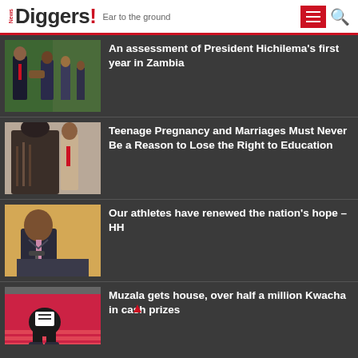News Diggers! Ear to the ground
An assessment of President Hichilema's first year in Zambia
Teenage Pregnancy and Marriages Must Never Be a Reason to Lose the Right to Education
Our athletes have renewed the nation's hope – HH
Muzala gets house, over half a million Kwacha in cash prizes